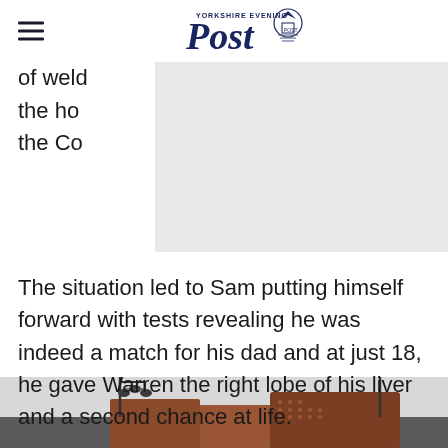Yorkshire Evening Post
of weld... ay in the ho... ue to the Co... o visit.
The situation led to Sam putting himself forward with tests revealing he was indeed a match for his dad and at just 18, he gave Warren the right lobe of his liver and a second chance at life.
[Figure (photo): Street scene with lamp posts and brick buildings, partially visible at bottom of page]